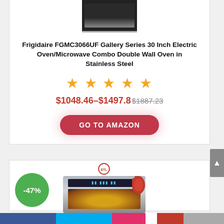[Figure (photo): Top portion of a stainless steel microwave/oven combo appliance]
Frigidaire FGMC3066UF Gallery Series 30 Inch Electric Oven/Microwave Combo Double Wall Oven in Stainless Steel
★★★★★ (5 stars rating)
$1048.46–$1497.8 $1887.23
GO TO AMAZON
-47%
[Figure (photo): Stainless steel wall oven with ETL certification badge and oven mitt graphic, golden food visible inside oven window]